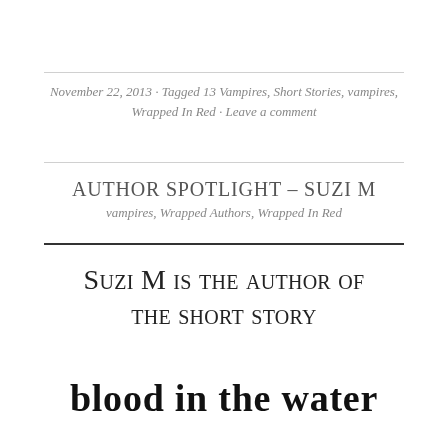November 22, 2013 · Tagged 13 Vampires, Short Stories, vampires, Wrapped In Red · Leave a comment
AUTHOR SPOTLIGHT – SUZI M
vampires, Wrapped Authors, Wrapped In Red
Suzi M is the author of the short story
BLOOD IN THE WATER